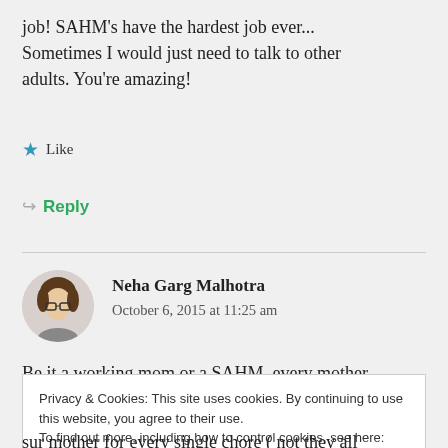job! SAHM's have the hardest job ever... Sometimes I would just need to talk to other adults. You're amazing!
★ Like
↪ Reply
Neha Garg Malhotra
October 6, 2015 at 11:25 am
Be it a working mom or a SAHM, every mother
Privacy & Cookies: This site uses cookies. By continuing to use this website, you agree to their use.
To find out more, including how to control cookies, see here: Cookie Policy
Close and accept
sur mother for every single chore ( not they all